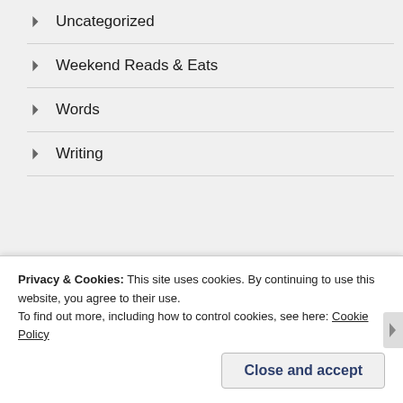Uncategorized
Weekend Reads & Eats
Words
Writing
FOLLOW BLOG VIA EMAIL
Enter your email address to follow this blog and receive notifications of new posts by email.
Privacy & Cookies: This site uses cookies. By continuing to use this website, you agree to their use.
To find out more, including how to control cookies, see here: Cookie Policy
Close and accept